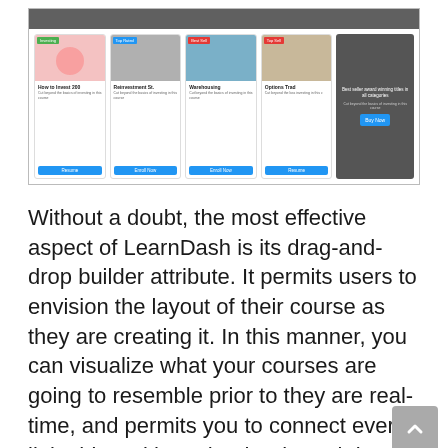[Figure (screenshot): Screenshot of a LearnDash course catalog interface showing multiple course cards with images, titles, descriptions, and enrollment buttons (Resume, Enroll Now, Buy Now)]
Without a doubt, the most effective aspect of LearnDash is its drag-and-drop builder attribute. It permits users to envision the layout of their course as they are creating it. In this manner, you can visualize what your courses are going to resemble prior to they are real-time, and permits you to connect every little thing with each other in real-time.
You can likewise quick-add brand-new lessons and quizzes from the course creator. You can set likewise the required